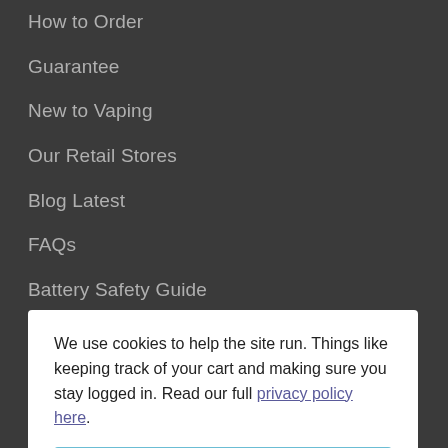How to Order
Guarantee
New to Vaping
Our Retail Stores
Blog Latest
FAQs
Battery Safety Guide
Accounts
We use cookies to help the site run. Things like keeping track of your cart and making sure you stay logged in. Read our full privacy policy here.
Got it
Customer Service